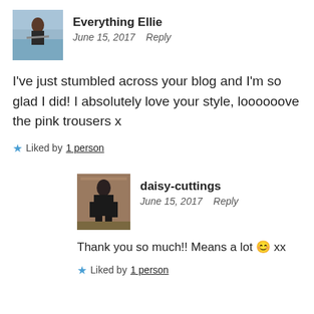[Figure (photo): Profile photo of Everything Ellie - person standing on balcony overlooking water]
Everything Ellie
June 15, 2017   Reply
I've just stumbled across your blog and I'm so glad I did! I absolutely love your style, loooooove the pink trousers x
★ Liked by 1 person
[Figure (photo): Profile photo of daisy-cuttings - person standing against brick wall]
daisy-cuttings
June 15, 2017   Reply
Thank you so much!! Means a lot 😊 xx
★ Liked by 1 person